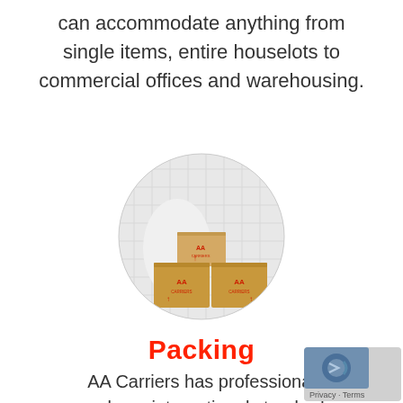can accommodate anything from single items, entire houselots to commercial offices and warehousing.
[Figure (photo): Circular photo of AA Carriers branded cardboard moving boxes stacked, with padded blanket background]
Packing
AA Carriers has professional packers, international standard parking gear and techniques to